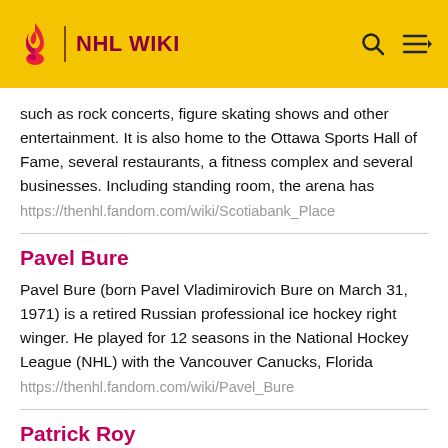NHL WIKI
such as rock concerts, figure skating shows and other entertainment. It is also home to the Ottawa Sports Hall of Fame, several restaurants, a fitness complex and several businesses. Including standing room, the arena has
https://thenhl.fandom.com/wiki/Scotiabank_Place
Pavel Bure
Pavel Bure (born Pavel Vladimirovich Bure on March 31, 1971) is a retired Russian professional ice hockey right winger. He played for 12 seasons in the National Hockey League (NHL) with the Vancouver Canucks, Florida
https://thenhl.fandom.com/wiki/Pavel_Bure
Patrick Roy
writers, coupled with a simultaneous fan poll. On November 13, 2006, Roy was inducted into the Hockey Hall of Fame. He is the